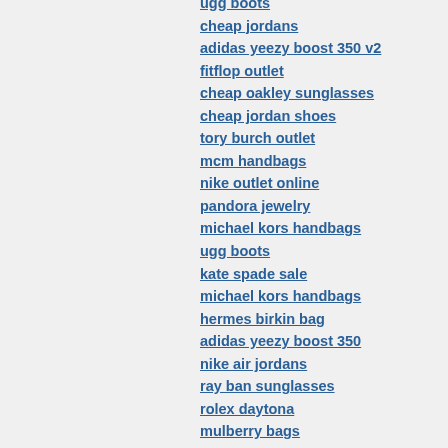ugg boots
cheap jordans
adidas yeezy boost 350 v2
fitflop outlet
cheap oakley sunglasses
cheap jordan shoes
tory burch outlet
mcm handbags
nike outlet online
pandora jewelry
michael kors handbags
ugg boots
kate spade sale
michael kors handbags
hermes birkin bag
adidas yeezy boost 350
nike air jordans
ray ban sunglasses
rolex daytona
mulberry bags
ugg boots
ugg australia
prada bags
air jordan shoes
nike factory outlet
pandora bracelet
occhiali da sole ray ban